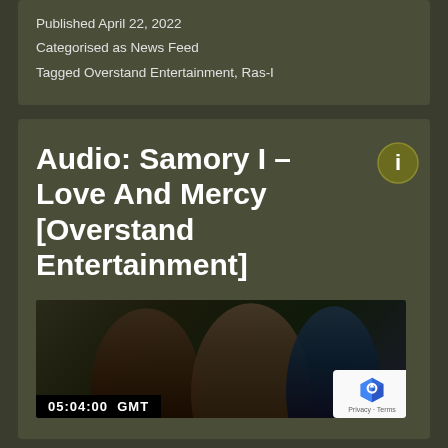Published April 22, 2022
Categorised as News Feed
Tagged Overstand Entertainment, Ras-I
Audio: Samory I – Love And Mercy [Overstand Entertainment]
[Figure (photo): Photo showing musicians/artists, with a timestamp overlay reading 05:04:00 GMT and a reCAPTCHA badge in the bottom right corner.]